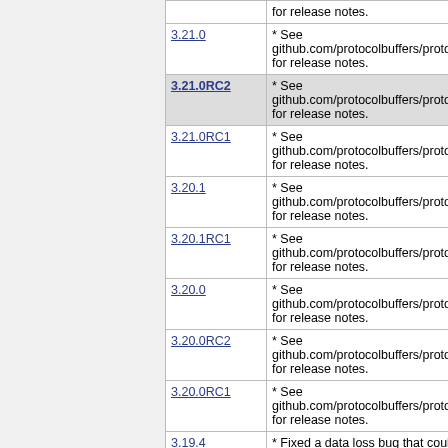| Version | Notes |
| --- | --- |
| (partial top row) | for release notes. |
| 3.21.0 | * See github.com/protocolbuffers/protobuf for release notes. |
| 3.21.0RC2 | * See github.com/protocolbuffers/protobuf for release notes. |
| 3.21.0RC1 | * See github.com/protocolbuffers/protobuf for release notes. |
| 3.20.1 | * See github.com/protocolbuffers/protobuf for release notes. |
| 3.20.1RC1 | * See github.com/protocolbuffers/protobuf for release notes. |
| 3.20.0 | * See github.com/protocolbuffers/protobuf for release notes. |
| 3.20.0RC2 | * See github.com/protocolbuffers/protobuf for release notes. |
| 3.20.0RC1 | * See github.com/protocolbuffers/protobuf for release notes. |
| 3.19.4 | * Fixed a data loss bug that could ... |